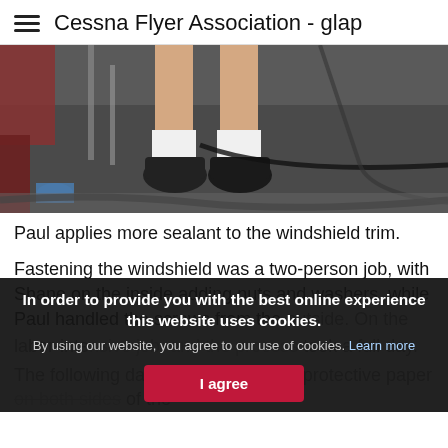≡ Cessna Flyer Association - glap
[Figure (photo): Photo showing a person's feet and lower legs wearing black shoes and white socks, standing on a dark floor with cables/hoses visible, near equipment with metal legs.]
Paul applies more sealant to the windshield trim.
Fastening the windshield was a two-person job, with Shane on the inside adding nuts and washers, while Paul handled the screws from the outside. On the whole, it was a quick but labor-intensive job, and the process took a full day.
The following day, it was time to peel the protective paper on both sides of the
In order to provide you with the best online experience this website uses cookies.
By using our website, you agree to our use of cookies. Learn more
I agree